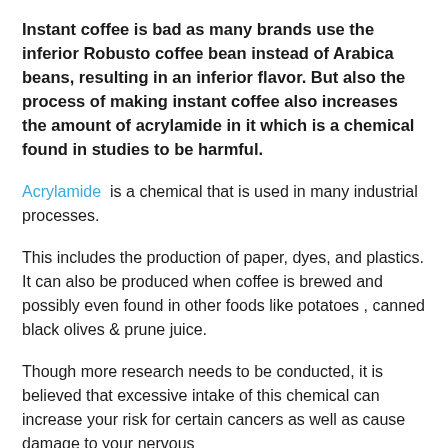Instant coffee is bad as many brands use the inferior Robusto coffee bean instead of Arabica beans, resulting in an inferior flavor. But also the process of making instant coffee also increases the amount of acrylamide in it which is a chemical found in studies to be harmful.
Acrylamide is a chemical that is used in many industrial processes.
This includes the production of paper, dyes, and plastics. It can also be produced when coffee is brewed and possibly even found in other foods like potatoes , canned black olives & prune juice.
Though more research needs to be conducted, it is believed that excessive intake of this chemical can increase your risk for certain cancers as well as cause damage to your nervous